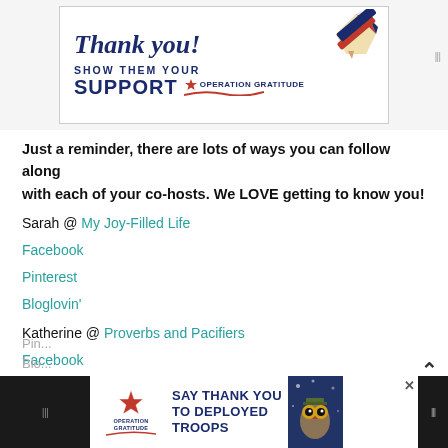[Figure (illustration): Operation Gratitude banner with cursive 'Thank you!' text, a patriotic pencil graphic (red, white, blue), and text 'SHOW THEM YOUR SUPPORT OPERATION GRATITUDE' in navy blue with a red star logo]
Just a reminder, there are lots of ways you can follow along with each of your co-hosts. We LOVE getting to know you!
Sarah @ My Joy-Filled Life
Facebook
Pinterest
Bloglovin'
Katherine @ Proverbs and Pacifiers
Facebook
[Figure (illustration): Operation Gratitude ad banner at bottom with dark background, logo, and text 'SAY THANK YOU TO DEPLOYED TROOPS' with owl mascot graphic]